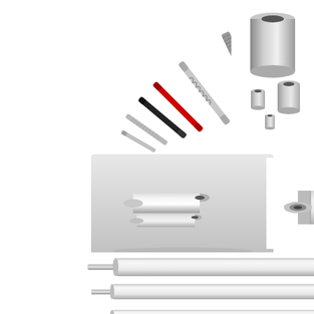[Figure (photo): Collection of precision machined metal rods, pins, shafts and threaded/knurled components in various sizes, including black and red coated variants, arranged diagonally on white background]
[Figure (photo): Set of cylindrical metal tube/sleeve components (socket-like), stainless steel finish, arranged in group on upper right]
[Figure (photo): Two polished silver metal cylindrical tubes/sleeves on grey gradient background, shown separately]
[Figure (photo): Precision machined cylindrical metal component with drilled holes and stepped grooves, nickel/chrome finish]
[Figure (photo): Single polished metal rod or pin shown at angle on white background, partial view on right edge]
[Figure (photo): Four precision ground metal rollers/shafts of varying diameters with small-diameter end journals, arranged in descending size order on white background]
[Figure (photo): Precision machined metal shaft/spindle assembly on right side, partial view]
[Figure (photo): Single knurled or threaded metal component at bottom right, partial view]